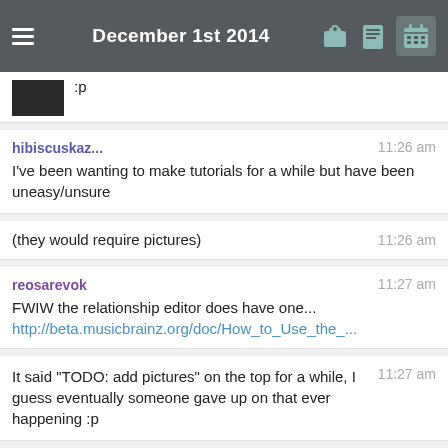December 1st 2014
hibiscuskaz... 11:26 am
I've been wanting to make tutorials for a while but have been uneasy/unsure
(they would require pictures) 11:26 am
reosarevok 11:27 am
FWIW the relationship editor does have one...
http://beta.musicbrainz.org/doc/How_to_Use_the_...
It said "TODO: add pictures" on the top for a while, I guess eventually someone gave up on that ever happening :p 11:27 am
Yup 11:28 am
'''This documentation is a WIP. TODO: Pepper the 11:28 am